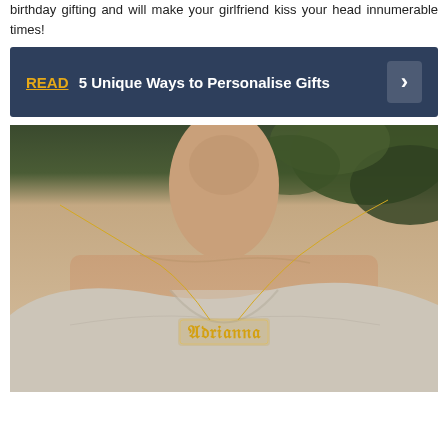birthday gifting and will make your girlfriend kiss your head innumerable times!
READ 5 Unique Ways to Personalise Gifts
[Figure (photo): Woman wearing a gold name necklace with 'Adrianna' in old English font, wearing a light grey v-neck top, with green foliage background]